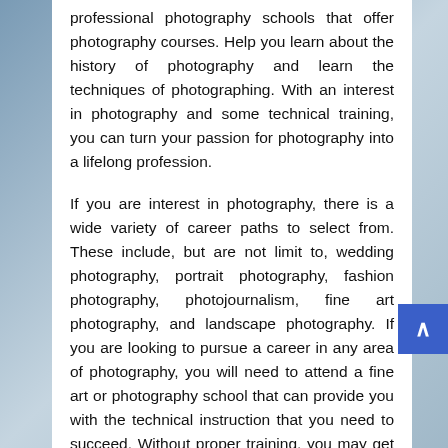professional photography schools that offer photography courses. Help you learn about the history of photography and learn the techniques of photographing. With an interest in photography and some technical training, you can turn your passion for photography into a lifelong profession.
If you are interest in photography, there is a wide variety of career paths to select from. These include, but are not limit to, wedding photography, portrait photography, fashion photography, photojournalism, fine art photography, and landscape photography. If you are looking to pursue a career in any area of photography, you will need to attend a fine art or photography school that can provide you with the technical instruction that you need to succeed. Without proper training, you may get left behind in a field that is full of competition.
What will you learn during a photography